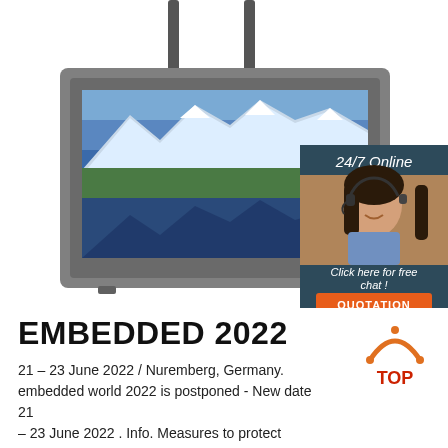[Figure (illustration): Ceiling-mounted outdoor display monitor with grey bezel, two antenna rods on top, showing a mountain lake landscape on screen. Beside it is a customer service chat widget with dark blue background showing '24/7 Online', a woman with headset, 'Click here for free chat!' text, and an orange QUOTATION button.]
EMBEDDED 2022
21 – 23 June 2022 / Nuremberg, Germany. embedded world 2022 is postponed - New date 21 – 23 June 2022 . Info. Measures to protect
[Figure (logo): TOP logo — orange triangular arrow pointing up with dots, red TOP text below]